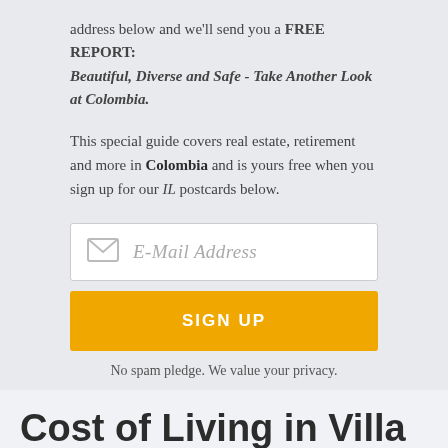address below and we'll send you a FREE REPORT: Beautiful, Diverse and Safe - Take Another Look at Colombia.
This special guide covers real estate, retirement and more in Colombia and is yours free when you sign up for our IL postcards below.
[Figure (other): Email address input field with envelope icon and placeholder text 'E-Mail Address']
[Figure (other): Yellow SIGN UP button]
No spam pledge. We value your privacy.
Cost of Living in Villa